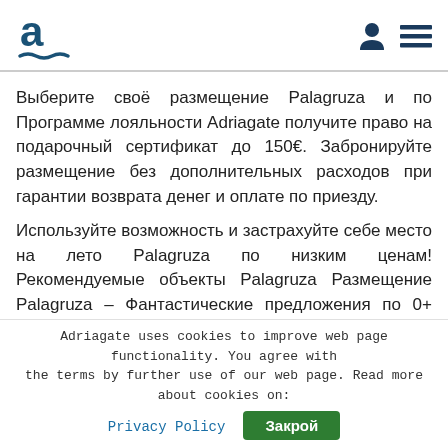Adriagate logo and navigation icons
Выберите своё размещение Palagruza и по Программе лояльности Adriagate получите право на подарочный сертификат до 150€. Забронируйте размещение без дополнительных расходов при гарантии возврата денег и оплате по приезду.
Используйте возможность и застрахуйте себе место на лето Palagruza по низким ценам! Рекомендуемые объекты Palagruza Размещение Palagruza – Фантастические предложения по 0+ единиц размещения
Adriagate uses cookies to improve web page functionality. You agree with the terms by further use of our web page. Read more about cookies on:
Privacy Policy  Закрой